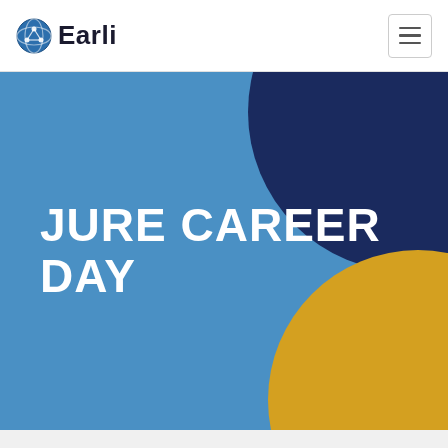[Figure (logo): Earli organization logo with globe icon and text 'Earli']
[Figure (illustration): Hamburger menu icon button (three horizontal lines) in a bordered square]
[Figure (illustration): Hero banner with blue background, dark navy circle in top-right, gold/yellow circle in bottom-right, and large white bold text reading 'JURE CAREER DAY']
JURE CAREER DAY